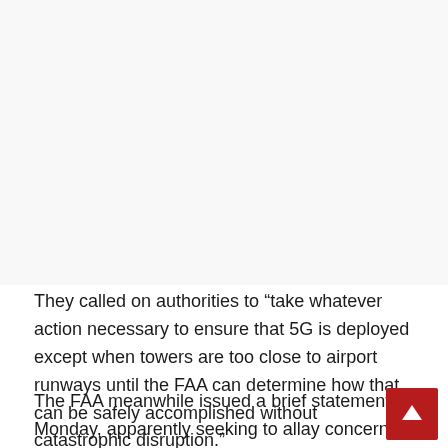They called on authorities to “take whatever action necessary to ensure that 5G is deployed except when towers are too close to airport runways until the FAA can determine how that can be safely accomplished without catastrophic disruption.”
The FAA meanwhile issued a brief statement Monday, apparently seeking to allay concerns about the impact of the 5G rollout on aviation, but did not